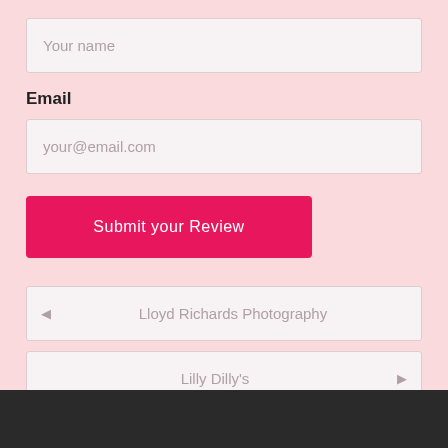Your name
Email
your@email.com
Submit your Review
Lloyd Richards Photography
Lilly Dilly's